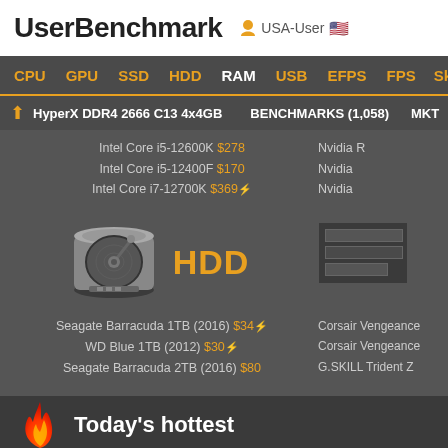UserBenchmark  USA-User
CPU  GPU  SSD  HDD  RAM  USB  EFPS  FPS  Sk
HyperX DDR4 2666 C13 4x4GB  BENCHMARKS (1,058)  MKT
Intel Core i5-12600K $278
Intel Core i5-12400F $170
Intel Core i7-12700K $369
Nvidia R
Nvidia
Nvidia
[Figure (illustration): Hard disk drive icon in grayscale]
HDD
[Figure (screenshot): RAM panel with dark bars]
Seagate Barracuda 1TB (2016) $34
WD Blue 1TB (2012) $30
Seagate Barracuda 2TB (2016) $80
Corsair Vengeance
Corsair Vengeance
G.SKILL Trident Z
Today's hottest